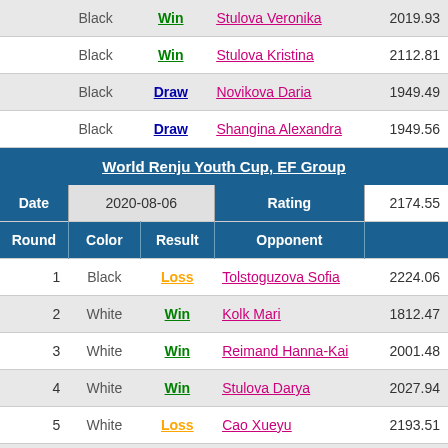| Round | Color | Result | Opponent | Rating |
| --- | --- | --- | --- | --- |
|  | Black | Win | Stulova Veronika | 2019.93 |
|  | Black | Win | Stulova Kristina | 2112.81 |
|  | Black | Draw | Novikova Daria | 1949.49 |
|  | Black | Draw | Shangina Alexandra | 1949.56 |
World Renju Youth Cup, EF Group
| Date | 2020-08-06 | Rating | 2174.55 |
| --- | --- | --- | --- |
| Round | Color | Result | Opponent |  |
| 1 | Black | Loss | Tolstoguzova Sofia | 2224.06 |
| 2 | White | Win | Kolk Mari | 1812.47 |
| 3 | White | Win | Reimand Hanna-Kai | 2001.48 |
| 4 | White | Win | Stulova Darya | 2027.94 |
| 5 | White | Loss | Cao Xueyu | 2193.51 |
| 6 | White | Win | Liu Xun | 2404.28 |